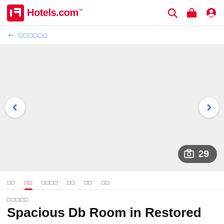Hotels.com
← □□□□□□
[Figure (photo): Hotel room photo viewer area — light gray placeholder with navigation arrows and photo count badge showing 29]
□□  □□  □□□□□□  □□  □□  □□
□□□□□
Spacious Db Room in Restored ...